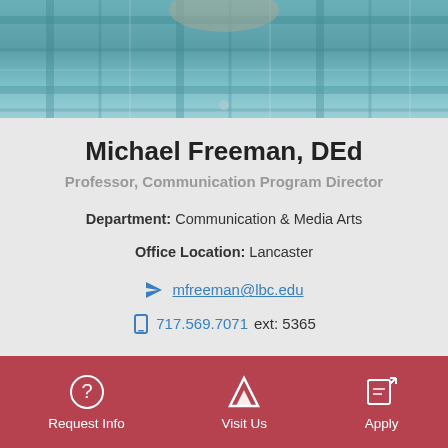[Figure (photo): Partial photo of Michael Freeman wearing a teal/blue plaid shirt, showing torso area]
Michael Freeman, DEd
Professor, Communication Program Director
Department: Communication & Media Arts
Office Location: Lancaster
mfreeman@lbc.edu
717.569.7071  ext: 5365
Request Info   Visit Us   Apply